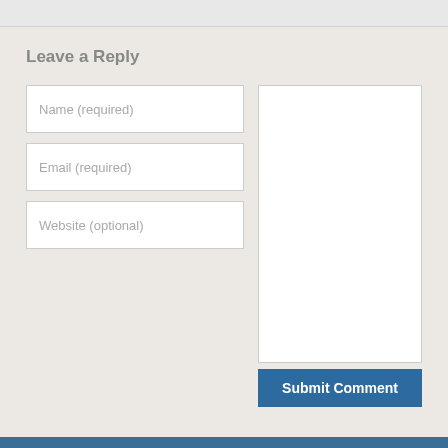Leave a Reply
Name (required)
Email (required)
Website (optional)
Submit Comment
© 2022 American Liquid Waste Magazine. All Rights Reserved.